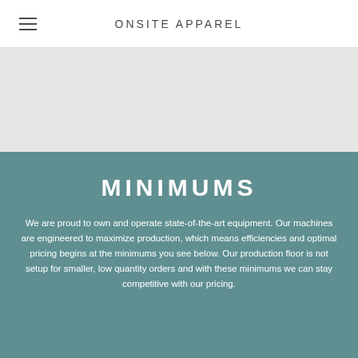ONSITE APPAREL
MINIMUMS
We are proud to own and operate state-of-the-art equipment. Our machines are engineered to maximize production, which means efficiencies and optimal pricing begins at the minimums you see below. Our production floor is not setup for smaller, low quantity orders and with these minimums we can stay competitive with our pricing.